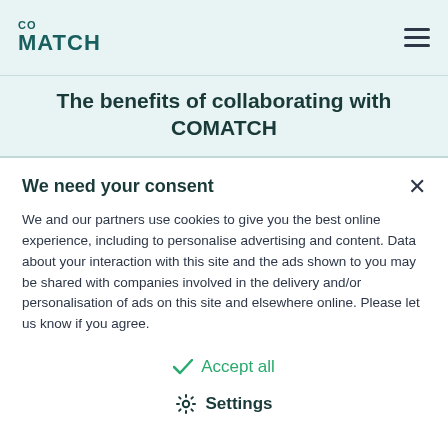co MATCH
The benefits of collaborating with COMATCH
We need your consent
We and our partners use cookies to give you the best online experience, including to personalise advertising and content. Data about your interaction with this site and the ads shown to you may be shared with companies involved in the delivery and/or personalisation of ads on this site and elsewhere online. Please let us know if you agree.
Accept all
Settings